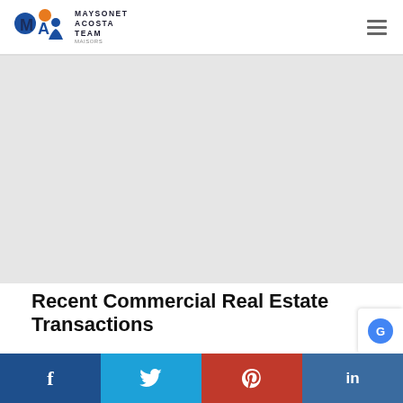[Figure (logo): Maysonet Acosta Team logo with stylized MA letters and person icon in blue/orange, with text MAYSONET ACOSTA TEAM MAISORS]
[Figure (photo): Large hero image area, light gray placeholder]
Recent Commercial Real Estate Transactions
We went down the lane, by the body of the man in
[Figure (infographic): Social sharing bar with Facebook, Twitter, Pinterest, LinkedIn buttons]